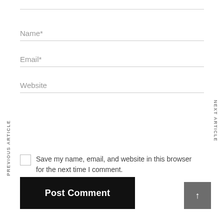Name*
Email*
Website
Save my name, email, and website in this browser for the next time I comment.
PREVIOUS ARTICLE
NEXT ARTICLE
Post Comment